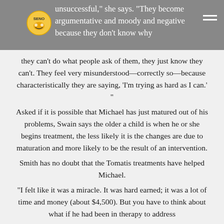unsuccessful," she says. "They become argumentative and moody and negative because they don't know why
they can't do what people ask of them, they just know they can't. They feel very misunderstood—correctly so—because characteristically they are saying, 'I'm trying as hard as I can.' "
Asked if it is possible that Michael has just matured out of his problems, Swain says the older a child is when he or she begins treatment, the less likely it is the changes are due to maturation and more likely to be the result of an intervention.
Smith has no doubt that the Tomatis treatments have helped Michael.
"I felt like it was a miracle. It was hard earned; it was a lot of time and money (about $4,500). But you have to think about what if he had been in therapy to address